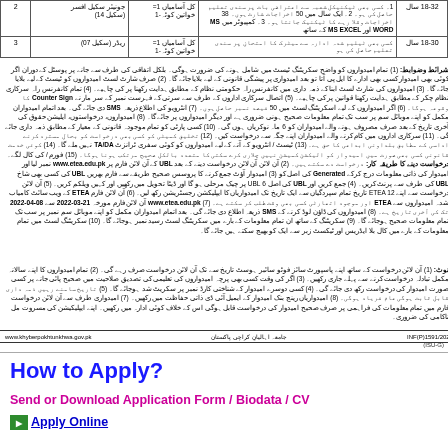| نمبر شمار | کوائف | آسامیاں | شرائط |
| --- | --- | --- | --- |
| 2 | جونیئر سکیل افسر (سکیل 14) | کل آسامیاں 1
خواتین کوٹہ 1 | 1۔ کسی بھی ٹیکنیکل شعبہ سے اعتراضی بات پر سندی تعلیم حاصل کی ہو۔ 2۔ ایک سال میں 50 اخراجات شارٹ ہوں۔ 38 اخراجات وقلا رہے کا ٹیکنیک جانتا ہو۔ 3۔ کمپیوٹر میں MS WORD اور MS EXCEL کے ساتھ | 18-32 سال |
| 3 | ریڈر (سکیل 07) | کل آسامیاں 1
خواتین کوٹہ 1 | کسی بھی ٹیلیم شدہ ادارہ سے میٹرک کا امتحان پر سندی تعلیم حاصل کی ہو | 18-30 سال |
شرائط وضوابط: (1) تمام امیدواروں کو واضح سکریٹ کمپلیٹ اپنے کی ضمارت ہوگی۔ بلکل اتفاقی کی طرف سے جانے پر پوسٹل کے دوران اگر کوئی بھی ادارے کا ایل پی کا آتا تو بعد امیدواری پر پیشگی لگا کے لیے بلانے اجازت اہمیراوی کی امیدوار کو باہر شامل کا جائے گا۔ (2) صرف شارٹ لسٹ امیدواروں کو ٹیسٹ کے لیے بلایا جائے گا۔ (3) امیدواروں کو شارٹ لسٹ بنانے کی ذمہ داری کانفرنس راہ سرکاری نظام کے مطابق ہدایت رکھنا پر کی چاہیے۔ (5) اتصال سرکاری اداروں کے طرف سے سرتی کے فیصد فہرست نمبر کے سر بار نے Counter Sign کا وقوعہ ہوگا۔ (6) اگر امیدواروں کے لیے اسکریٹنگ لسٹ میں 50 فیصد نمبر حاصل ہوں۔ (7) ...
درخواست دینے کا طریقہ کار: (1) آن لائن درخواست دے سکتے ہیں۔ (2) آن لائن آن لائن درخواست دینے کے بعد UBL کے آن لائن فارم پر (پرنٹ) www.etea.edu.pk نمبر لیا اور امیدوار کی ذاتی معلومات درج کرکے Generated فارم لے کر (3) امیدوار آؤٹ جمع کا پروسس صحیح طریقے سے فارم کلی UBL کی کسی بھی شاخ UBL کی طرف سے پرنٹ کریں۔ (4) جمع کریں اور سپردگی کا UBL کی اصل 6 UBL پر چیک مرحلی ہو گا اور ڈیٹا تحویل میں رکھیں اور کہیں ویلکم کریں۔ (5) آن لائن درخواست سے اپنے ادارے کا 12 تاریخ ETEA حبہ کریں تمام سپردگیاں سے ایک تاریخ تک امیدواریاں کا ایپلیکشن میں پر ریجسٹریشن رکھ لیں۔ (6) آن لائن فارم ETEA کے ویب سائٹ کامیاب شدہ امیدواروں سے ETEA اور موجود اتھارٹی کسی بھی وقت طرف پر ڈاؤن لائن طلب کر سکتے ہے۔ www.etea.edu.pk (7) آن لائن فارم مورخہ 21-03-2022 سے 08-04-2022 تک کی آخری تاریخ ہے۔ (8) امیدواروں کی ڈاؤن لوڈ کرنے کے SMSذریعہ اطلاع دی جائے گی۔ بعد اتمام امیدواران مکمل کو اپنے موبائل سم نمبر پر سب تک تمام معلومات کے بارے میں سکریٹنگ لسٹ رسید نمبر ہوجائے گا۔ (10) سکریٹنگ کے ساتھ ان تمام معلومات کے بارے میں کال بلا ایڈریس اور ٹیکسٹ زبر سے ایک کو بھیج سکتے ہیں۔
نوٹ: (1) آن لائن درخواست کے ساتھ اپنے پاسپورٹ سائز فوٹو سائبر ہوسٹ تاریخ سے تک آن لائن درخواست صرف رہے گی۔ (2) تمام امیدواروں کا اپنے سالانہ مکمل تبادلہ درخواست کرنے سے پہلے جاری رکھیں۔ (3) اگر کی وقت کسی بھی پرچہ امیدواروں کی تعلیمی کی تصدیق صلاحیت میں صحیح پائی جانے پر کسی صورت امیدوار کی درخواست رکھ دی جائے گی۔ (4) کسی دوسرے امیدوار کے شناختی کارڈ نمبر پر سکریٹ شد ہوجائے گا۔ (5) تاریخ سامنے رہیں ذمہ داری قابل ثابت ہوگی عام فریاد ہوگی۔ (8) امیدواریاں رینج بنک امیدوار کے ایمیل ڈی آئی ذاتی حفاظت میں رکھیں۔ (7) امیدواری طرف سے آن لائن درخواست فارم میں تمام معلومات کی فراہمی پر صرف ضحت امیدوار کی درخواست قابل ہوگی اس کے خلاف کوئی ادارہ میں رکھیں۔ اپنے ایپلیکیشن کی مسروت مل ناکامی کی ضروری۔
www.khyberpokhtunkhwa.gov.pk | جامعہ اہالیانِ کراچی پاکستان | INF(P)1591/2022
(ISU-G)
How to Apply?
Send or Download Application Form / Biodata / CV
at Apply Online